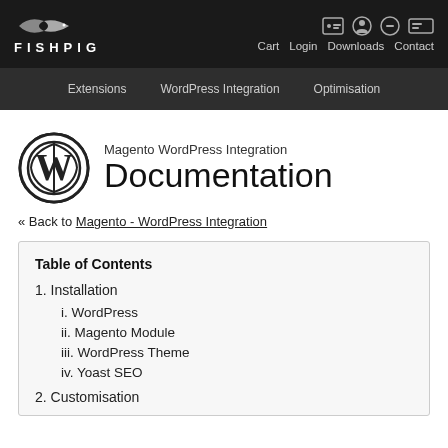FISHPIG | Cart Login Downloads Contact
Extensions | WordPress Integration | Optimisation
Magento WordPress Integration
Documentation
« Back to Magento - WordPress Integration
Table of Contents
1. Installation
i. WordPress
ii. Magento Module
iii. WordPress Theme
iv. Yoast SEO
2. Customisation